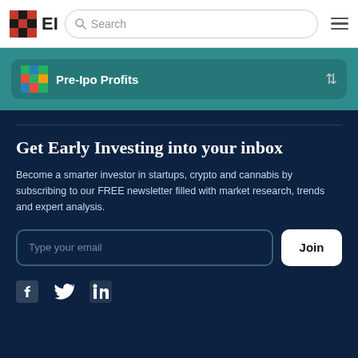[Figure (logo): Early Investing logo: red/black checkered grid icon with bold text EI]
Search
Pre-Ipo Profits
Get Early Investing into your inbox
Become a smarter investor in startups, crypto and cannabis by subscribing to our FREE newsletter filled with market research, trends and expert analysis.
Type your email
Join
[Figure (infographic): Social media icons: Facebook, Twitter, LinkedIn]